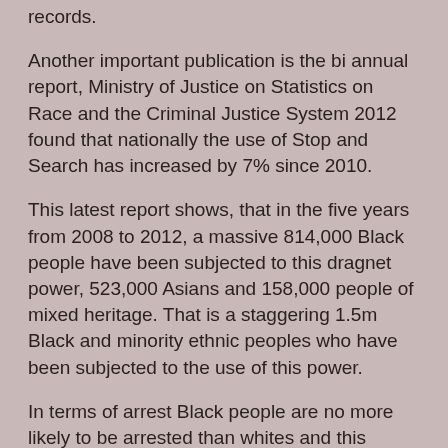records.
Another important publication is the bi annual report, Ministry of Justice on Statistics on Race and the Criminal Justice System 2012 found that nationally the use of Stop and Search has increased by 7% since 2010.
This latest report shows, that in the five years from 2008 to 2012, a massive 814,000 Black people have been subjected to this dragnet power, 523,000 Asians and 158,000 people of mixed heritage. That is a staggering 1.5m Black and minority ethnic peoples who have been subjected to the use of this power.
In terms of arrest Black people are no more likely to be arrested than whites and this means that over 1 million Black, Asian and minority ethnic people were subjected to arbitrary, probably illegal and